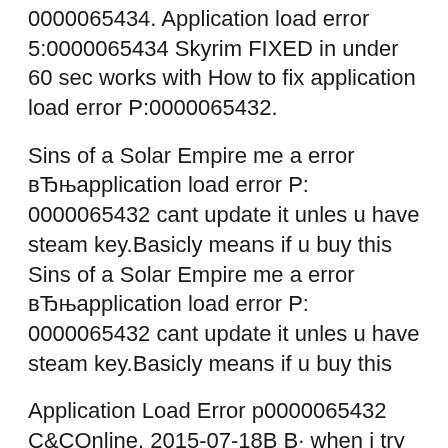0000065434. Application load error 5:0000065434 Skyrim FIXED in under 60 sec works with How to fix application load error P:0000065432.
Sins of a Solar Empire me a error вЂњapplication load error P: 0000065432 cant update it unles u have steam key.Basicly means if u buy this Sins of a Solar Empire me a error вЂњapplication load error P: 0000065432 cant update it unles u have steam key.Basicly means if u buy this
Application Load Error p0000065432 C&COnline. 2015-07-18В В· when i try to load skyrim it gives me application load error P:0000065432 i also have to mention this is a crack version of skyrim not steam, How to Fix Steam error 0000065434.